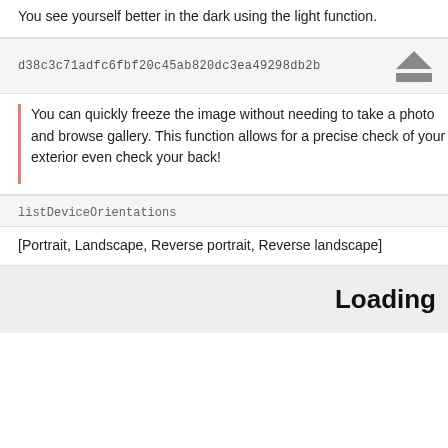You see yourself better in the dark using the light function.
d38c3c71adfc6fbf20c45ab820dc3ea49298db2b
You can quickly freeze the image without needing to take a photo and browse gallery. This function allows for a precise check of your exterior even check your back!
listDeviceOrientations
[Portrait, Landscape, Reverse portrait, Reverse landscape]
Loading